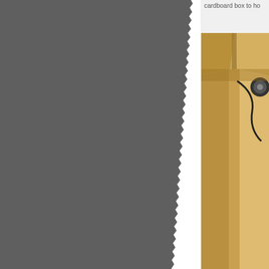[Figure (photo): Dark grey/charcoal colored area occupying the left ~75% of the page, representing a torn or cut page effect showing a grey background]
cardboard box to ho
[Figure (photo): Photo of an open cardboard box viewed from above, containing what appears to be cables/wires and a small electronic device, placed on a grey surface]
You will also need a p and you will want to s
[Figure (photo): Partial view of a second photo at bottom right, showing white/light colored surface]